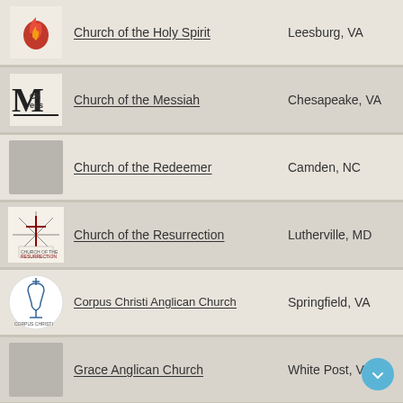Church of the Holy Spirit — Leesburg, VA
Church of the Messiah — Chesapeake, VA
Church of the Redeemer — Camden, NC
Church of the Resurrection — Lutherville, MD
Corpus Christi Anglican Church — Springfield, VA
Grace Anglican Church — White Post, VA
Grace Church Purdy — Jarratt, VA
Holy Spirit Anglican Church — Lewes, DE
Immanuel Anglican Church — Woodbridge,, VA